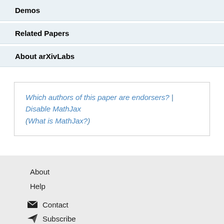Demos
Related Papers
About arXivLabs
Which authors of this paper are endorsers? | Disable MathJax (What is MathJax?)
About
Help
Contact
Subscribe